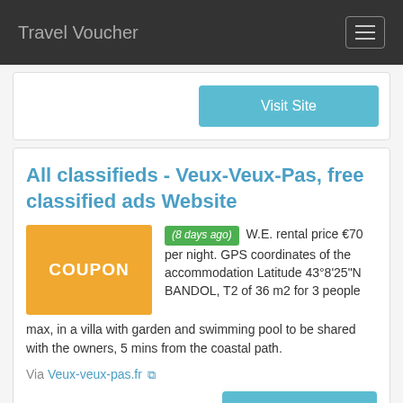Travel Voucher
Visit Site
All classifieds - Veux-Veux-Pas, free classified ads Website
(8 days ago) W.E. rental price €70 per night. GPS coordinates of the accommodation Latitude 43°8'25"N BANDOL, T2 of 36 m2 for 3 people max, in a villa with garden and swimming pool to be shared with the owners, 5 mins from the coastal path.
Via Veux-veux-pas.fr
Category: Coupon,
View More Coupons